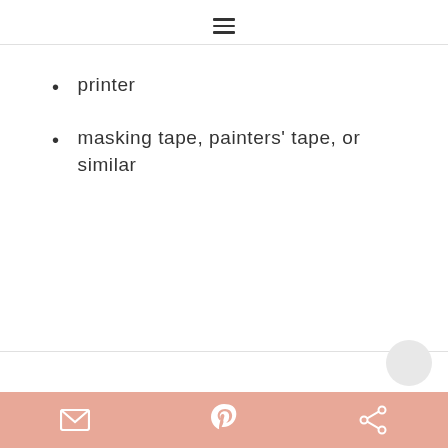≡ (hamburger menu icon)
printer
masking tape, painters' tape, or similar
Share bar with email, Pinterest, and share icons